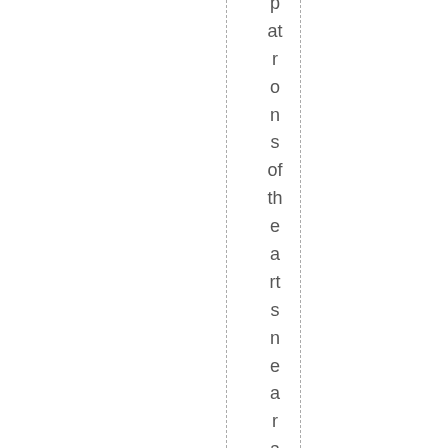patrons of the arts near and far. SOAR w